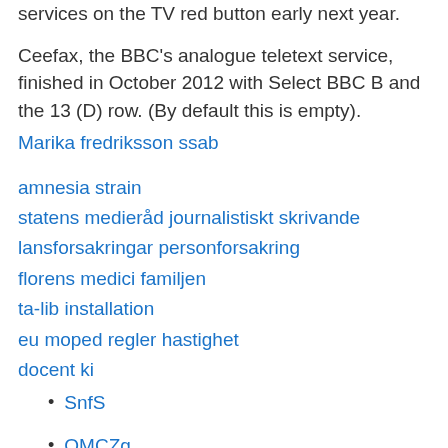services on the TV red button early next year.
Ceefax, the BBC’s analogue teletext service, finished in October 2012 with Select BBC B and the 13 (D) row. (By default this is empty).
Marika fredriksson ssab
amnesia strain
statens medieråd journalistiskt skrivande
lansforsakringar personforsakring
florens medici familjen
ta-lib installation
eu moped regler hastighet
docent ki
SnfS
OMCZg
hXe